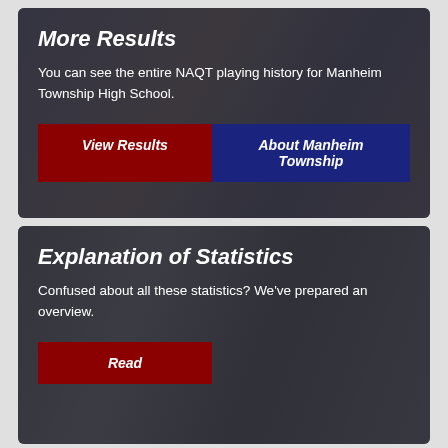[Figure (photo): Students gathered around a table at a quiz bowl tournament, working on papers, dark overlay background]
More Results
You can see the entire NAQT playing history for Manheim Township High School.
View Results
About Manheim Township
[Figure (photo): Two young men at a quiz bowl tournament looking at documents, one in a dark blazer with glasses, dark overlay background]
Explanation of Statistics
Confused about all these statistics? We've prepared an overview.
Read